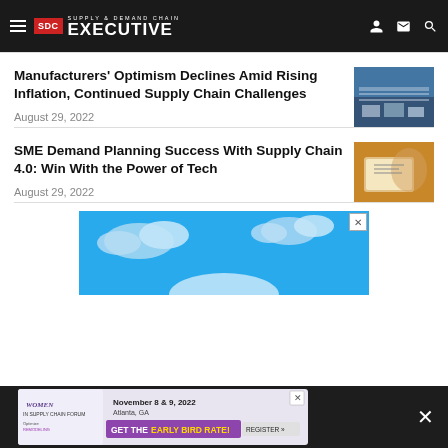Supply & Demand Chain Executive
Manufacturers' Optimism Declines Amid Rising Inflation, Continued Supply Chain Challenges
August 29, 2022
[Figure (photo): Warehouse interior with conveyor systems and boxes]
SME Demand Planning Success With Supply Chain 4.0: Win With the Power of Tech
August 29, 2022
[Figure (photo): Person using tablet device]
[Figure (photo): Advertisement: Women in Supply Chain Forum, November 8 & 9, 2022, Atlanta, GA — Get the Early Bird Rate! Register.]
[Figure (photo): Bottom advertisement banner: Women in Supply Chain Forum, November 8 & 9, 2022, Atlanta, GA — Get the Early Bird Rate! Register.]